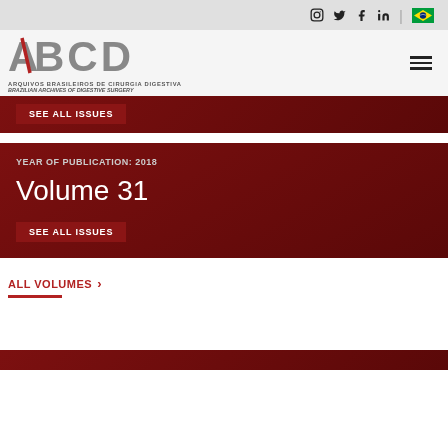Social icons: Instagram, Twitter, Facebook, LinkedIn, Brazil flag
[Figure (logo): ABCD Arquivos Brasileiros de Cirurgia Digestiva logo with red slash through A]
SEE ALL ISSUES
YEAR OF PUBLICATION: 2018
Volume 31
SEE ALL ISSUES
ALL VOLUMES >